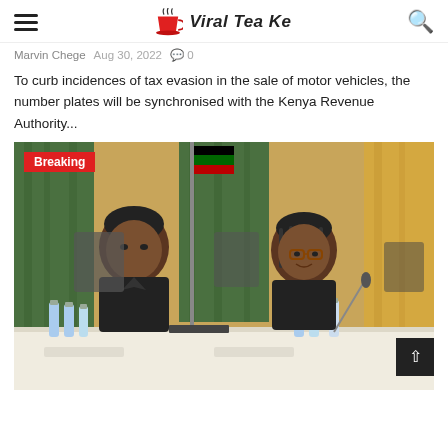Viral Tea Ke
Marvin Chege  Aug 30, 2022  0
To curb incidences of tax evasion in the sale of motor vehicles, the number plates will be synchronised with the Kenya Revenue Authority...
[Figure (photo): Two women in black attire seated at a conference table with microphones and water bottles, in a formal meeting room with green curtains and a flag in the background. A red 'Breaking' badge is overlaid on the top-left of the image.]